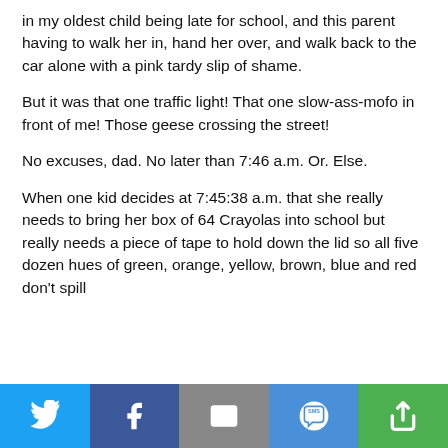in my oldest child being late for school, and this parent having to walk her in, hand her over, and walk back to the car alone with a pink tardy slip of shame.
But it was that one traffic light! That one slow-ass-mofo in front of me! Those geese crossing the street!
No excuses, dad. No later than 7:46 a.m. Or. Else.
When one kid decides at 7:45:38 a.m. that she really needs to bring her box of 64 Crayolas into school but really needs a piece of tape to hold down the lid so all five dozen hues of green, orange, yellow, brown, blue and red don't spill
[Figure (infographic): Social media share bar with five buttons: Twitter (blue bird icon), Facebook (dark blue f icon), Email (grey envelope icon), SMS (blue speech bubble with SMS text), Share (green circular arrow icon)]